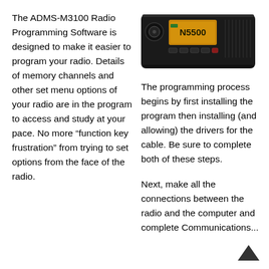The ADMS-M3100 Radio Programming Software is designed to make it easier to program your radio. Details of memory channels and other set menu options of your radio are in the program to access and study at your pace. No more “function key frustration” from trying to set options from the face of the radio.
[Figure (photo): Photo of an ADMS-M3100 mobile radio unit with yellow/orange display showing '5500']
The programming process begins by first installing the program then installing (and allowing) the drivers for the cable. Be sure to complete both of these steps.
Next, make all the connections between the radio and the computer and complete Communications...